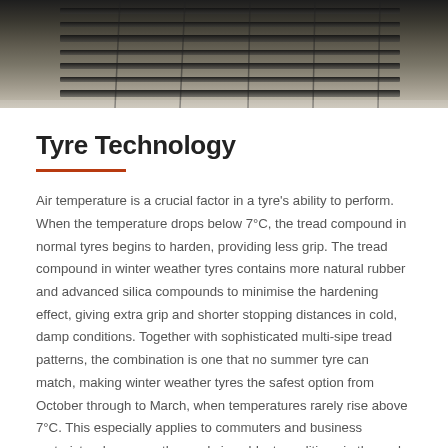[Figure (photo): Close-up photo of a winter tyre tread from below, showing the rubber tread pattern and grooves against a light background.]
Tyre Technology
Air temperature is a crucial factor in a tyre's ability to perform. When the temperature drops below 7°C, the tread compound in normal tyres begins to harden, providing less grip. The tread compound in winter weather tyres contains more natural rubber and advanced silica compounds to minimise the hardening effect, giving extra grip and shorter stopping distances in cold, damp conditions. Together with sophisticated multi-sipe tread patterns, the combination is one that no summer tyre can match, making winter weather tyres the safest option from October through to March, when temperatures rarely rise above 7°C. This especially applies to commuters and business motorists who are on the roads in coldest conditions in the early morning and evening.